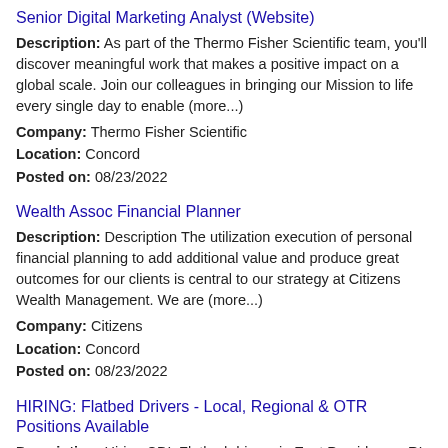Senior Digital Marketing Analyst (Website)
Description: As part of the Thermo Fisher Scientific team, you'll discover meaningful work that makes a positive impact on a global scale. Join our colleagues in bringing our Mission to life every single day to enable (more...)
Company: Thermo Fisher Scientific
Location: Concord
Posted on: 08/23/2022
Wealth Assoc Financial Planner
Description: Description The utilization execution of personal financial planning to add additional value and produce great outcomes for our clients is central to our strategy at Citizens Wealth Management. We are (more...)
Company: Citizens
Location: Concord
Posted on: 08/23/2022
HIRING: Flatbed Drivers - Local, Regional & OTR Positions Available
Description: Hiring CDL Flatbed drivers in East Providence, RI. Apply once and choose a trucking job that works for you. Get home when you want to, and get paid what you deserve br Available Trucking